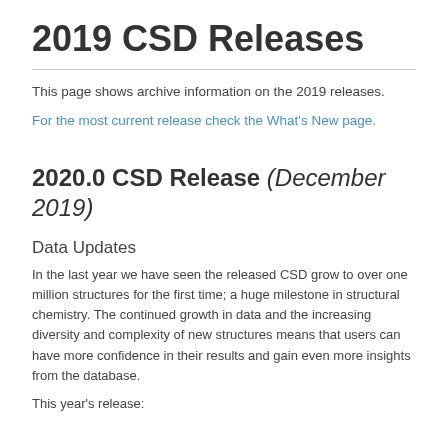2019 CSD Releases
This page shows archive information on the 2019 releases.
For the most current release check the What's New page.
2020.0 CSD Release (December 2019)
Data Updates
In the last year we have seen the released CSD grow to over one million structures for the first time; a huge milestone in structural chemistry. The continued growth in data and the increasing diversity and complexity of new structures means that users can have more confidence in their results and gain even more insights from the database.
This year's release: